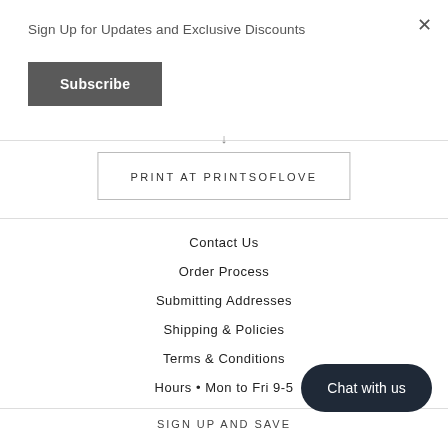×
Sign Up for Updates and Exclusive Discounts
Subscribe
↓
PRINT AT PRINTSOFLOVE
Contact Us
Order Process
Submitting Addresses
Shipping & Policies
Terms & Conditions
Hours • Mon to Fri 9-5
SIGN UP AND SAVE
Chat with us